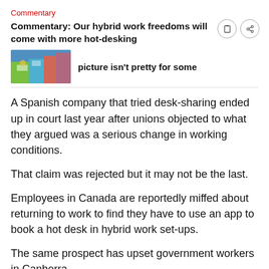Commentary
Commentary: Our hybrid work freedoms will come with more hot-desking
[Figure (photo): Thumbnail image of an illustrated office scene with colorful cartoon elements]
picture isn't pretty for some
A Spanish company that tried desk-sharing ended up in court last year after unions objected to what they argued was a serious change in working conditions.
That claim was rejected but it may not be the last.
Employees in Canada are reportedly miffed about returning to work to find they have to use an app to book a hot desk in hybrid work set-ups.
The same prospect has upset government workers in Canberra.